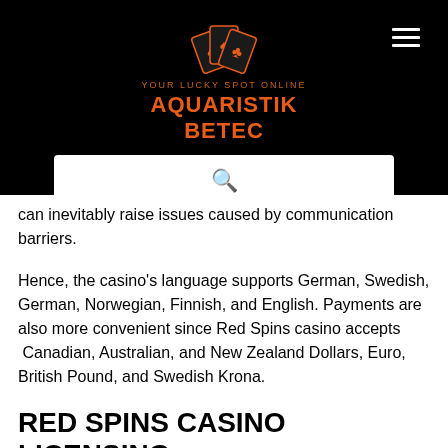AQUARISTIK BETEC
can inevitably raise issues caused by communication barriers.
Hence, the casino's language supports German, Swedish, German, Norwegian, Finnish, and English. Payments are also more convenient since Red Spins casino accepts  Canadian, Australian, and New Zealand Dollars, Euro, British Pound, and Swedish Krona.
RED SPINS CASINO LICENSING